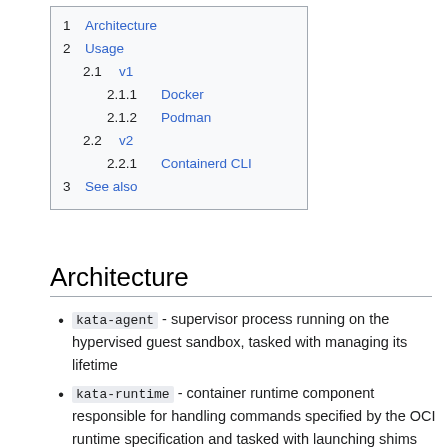1 Architecture
2 Usage
2.1 v1
2.1.1 Docker
2.1.2 Podman
2.2 v2
2.2.1 Containerd CLI
3 See also
Architecture
kata-agent - supervisor process running on the hypervised guest sandbox, tasked with managing its lifetime
kata-runtime - container runtime component responsible for handling commands specified by the OCI runtime specification and tasked with launching shims
kata-proxy (before 2.0) - routes I/O streams and signals between on-guest agent and host-side processes associated with running a given sandbox using gRPC
kata-shim (before 2.0) - container process monitor and